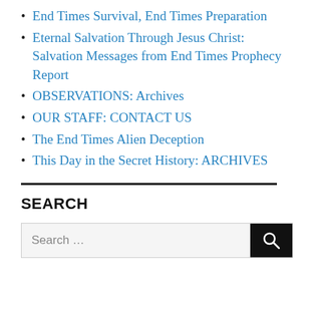End Times Survival, End Times Preparation
Eternal Salvation Through Jesus Christ: Salvation Messages from End Times Prophecy Report
OBSERVATIONS: Archives
OUR STAFF: CONTACT US
The End Times Alien Deception
This Day in the Secret History: ARCHIVES
SEARCH